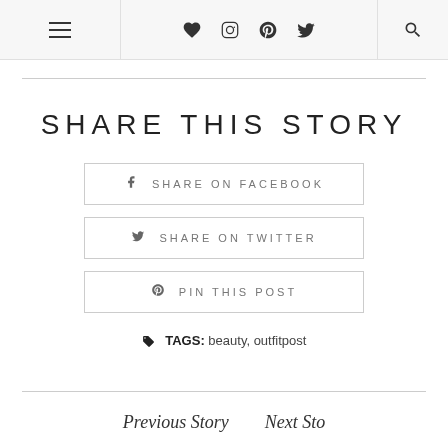Navigation header with hamburger menu, heart, instagram, pinterest, twitter icons, and search
SHARE THIS STORY
SHARE ON FACEBOOK
SHARE ON TWITTER
PIN THIS POST
TAGS: beauty, outfitpost